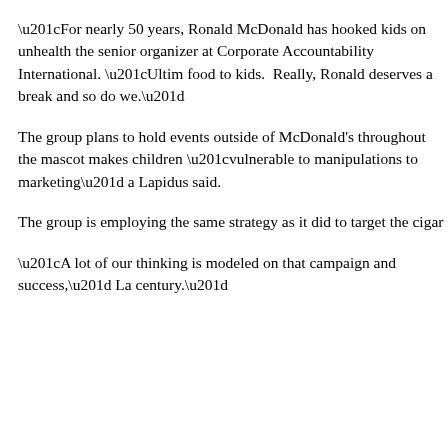“For nearly 50 years, Ronald McDonald has hooked kids on unhealth the senior organizer at Corporate Accountability International. “Ultim food to kids.  Really, Ronald deserves a break and so do we.”
The group plans to hold events outside of McDonald’s throughout the mascot makes children “vulnerable to manipulations to marketing” a Lapidus said.
The group is employing the same strategy as it did to target the cigar
“A lot of our thinking is modeled on that campaign and success,” La century.”